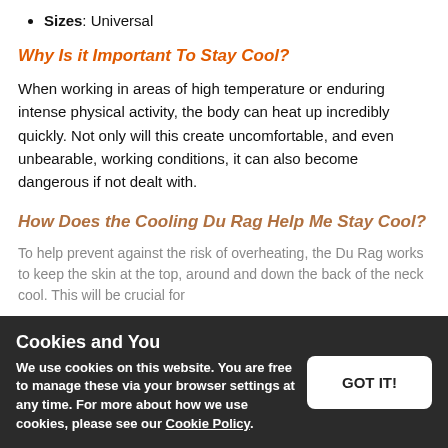Sizes: Universal
Why Is it Important To Stay Cool?
When working in areas of high temperature or enduring intense physical activity, the body can heat up incredibly quickly. Not only will this create uncomfortable, and even unbearable, working conditions, it can also become dangerous if not dealt with.
How Does the Cooling Du Rag Help Me Stay Cool?
To help prevent against the risk of overheating, the Du Rag works to keep the skin at the top, around and down the back of the neck cool. This will be crucial for
Cookies and You
We use cookies on this website. You are free to manage these via your browser settings at any time. For more about how we use cookies, please see our Cookie Policy.
GOT IT!